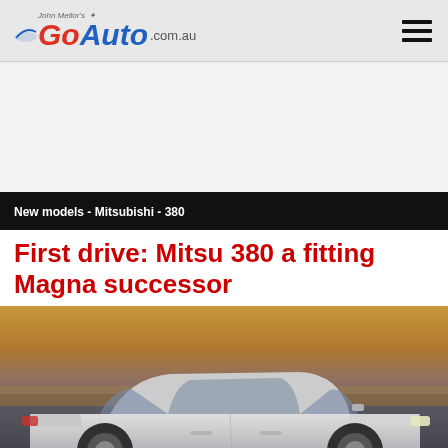GoAuto.com.au
[Figure (photo): Blank advertisement space]
New models - Mitsubishi - 380
First drive: Mitsu 380 a fitting Magna successor
[Figure (photo): Silver Mitsubishi 380 sedan driving on a road with arid landscape in the background]